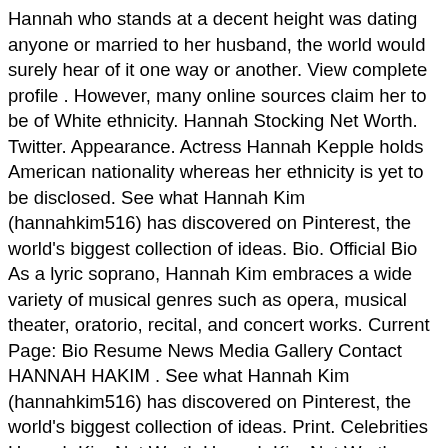Hannah who stands at a decent height was dating anyone or married to her husband, the world would surely hear of it one way or another. View complete profile . However, many online sources claim her to be of White ethnicity. Hannah Stocking Net Worth. Twitter. Appearance. Actress Hannah Kepple holds American nationality whereas her ethnicity is yet to be disclosed. See what Hannah Kim (hannahkim516) has discovered on Pinterest, the world's biggest collection of ideas. Bio. Official Bio As a lyric soprano, Hannah Kim embraces a wide variety of musical genres such as opera, musical theater, oratorio, recital, and concert works. Current Page: Bio Resume News Media Gallery Contact HANNAH HAKIM . See what Hannah Kim (hannahkim516) has discovered on Pinterest, the world's biggest collection of ideas. Print. Celebrities Hannah Kim Net Worth Hannah Kim Net Worth 2020, Age, Height, Relationships, Married, Dating, Family, Wiki Biography Languages: English, Korean . After all, she is the daughter and the only child of Tom Selleck. Hannah Kim; Sumin Kim; Soo Jin Hong; So Yoon Kim; Asian Bioethics Review . Hannah Kim